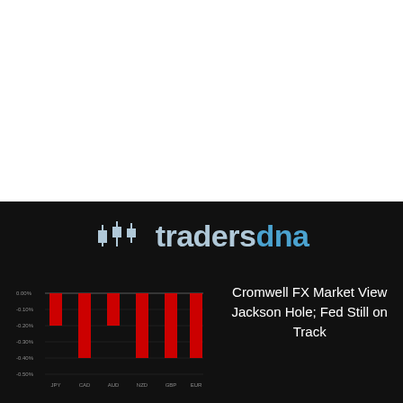[Figure (logo): tradersdna logo with candlestick chart icons on black background]
[Figure (bar-chart): FX performance bar chart]
Cromwell FX Market View Jackson Hole; Fed Still on Track